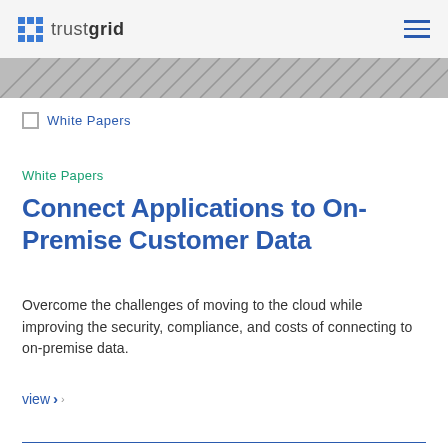trustgrid
[Figure (illustration): Diagonal zigzag pattern banner in dark tones]
White Papers
White Papers
Connect Applications to On-Premise Customer Data
Overcome the challenges of moving to the cloud while improving the security, compliance, and costs of connecting to on-premise data.
view ›